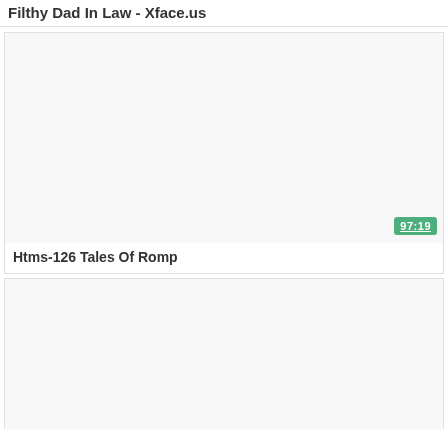Filthy Dad In Law - Xface.us
[Figure (screenshot): Blank/white video thumbnail for first card with green duration badge showing 97:19]
Htms-126 Tales Of Romp
[Figure (screenshot): Blank/white video thumbnail for second card, partially visible]